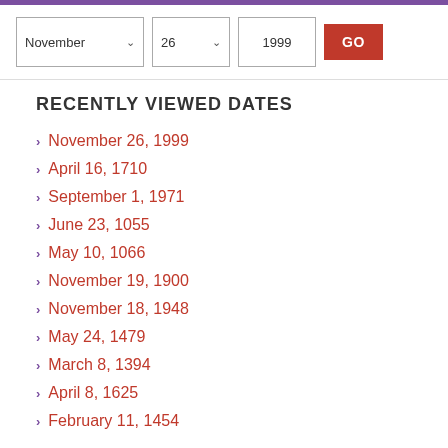[Figure (screenshot): Date selector UI with dropdowns for November, 26, 1999 and a GO button]
RECENTLY VIEWED DATES
November 26, 1999
April 16, 1710
September 1, 1971
June 23, 1055
May 10, 1066
November 19, 1900
November 18, 1948
May 24, 1479
March 8, 1394
April 8, 1625
February 11, 1454